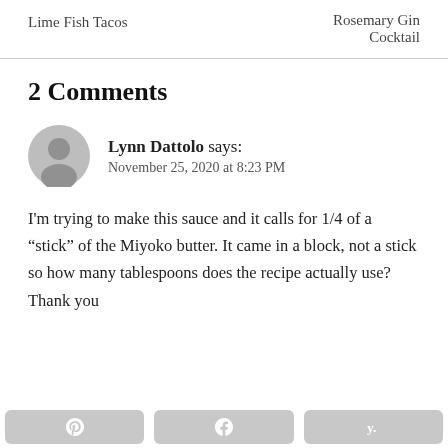Lime Fish Tacos | Rosemary Gin Cocktail
2 Comments
Lynn Dattolo says: November 25, 2020 at 8:23 PM
I'm trying to make this sauce and it calls for 1/4 of a “stick” of the Miyoko butter. It came in a block, not a stick so how many tablespoons does the recipe actually use? Thank you